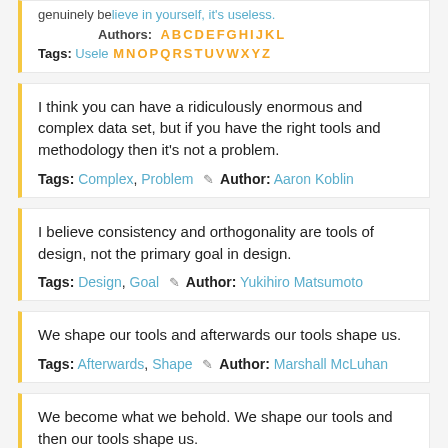genuinely believe in yourself, it's useless. Authors: [A-L alphabet links] Tags: Usele [M-ZZ alphabet links]
I think you can have a ridiculously enormous and complex data set, but if you have the right tools and methodology then it's not a problem.
Tags: Complex, Problem  ✎ Author: Aaron Koblin
I believe consistency and orthogonality are tools of design, not the primary goal in design.
Tags: Design, Goal  ✎ Author: Yukihiro Matsumoto
We shape our tools and afterwards our tools shape us.
Tags: Afterwards, Shape  ✎ Author: Marshall McLuhan
We become what we behold. We shape our tools and then our tools shape us.